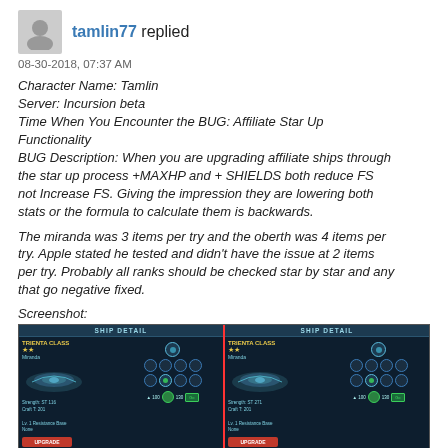tamlin77 replied
08-30-2018, 07:37 AM
Character Name: Tamlin
Server: Incursion beta
Time When You Encounter the BUG: Affiliate Star Up Functionality
BUG Description: When you are upgrading affiliate ships through the star up process +MAXHP and + SHIELDS both reduce FS not Increase FS. Giving the impression they are lowering both stats or the formula to calculate them is backwards.
The miranda was 3 items per try and the oberth was 4 items per try. Apple stated he tested and didn't have the issue at 2 items per try. Probably all ranks should be checked star by star and any that go negative fixed.
Screenshot:
[Figure (screenshot): Two side-by-side SHIP DETAIL panels from a game interface showing ship stats with upgrade buttons, displayed on a dark blue background.]